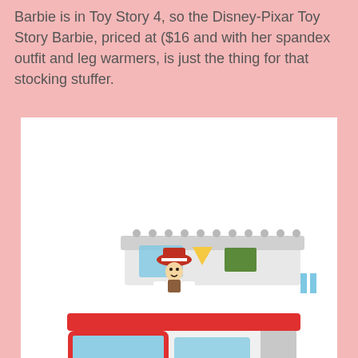Barbie is in Toy Story 4, so the Disney-Pixar Toy Story Barbie, priced at ($16 and with her spandex outfit and leg warmers, is just the thing for that stocking stuffer.
[Figure (photo): A LEGO Toy Story 4 RV camper van set with Jessie minifigure on top and an alien minifigure inside, plus a small picnic table accessory with cactus and Forky figure.]